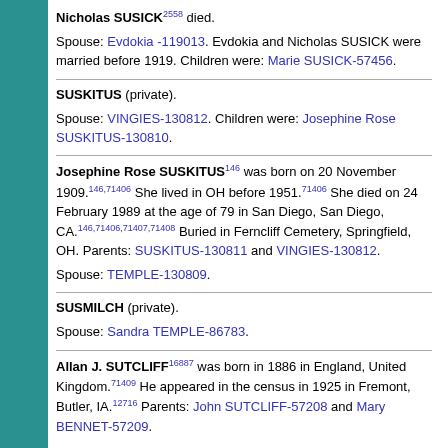Nicholas SUSICK2558 died. Spouse: Evdokia -119013. Evdokia and Nicholas SUSICK were married before 1919. Children were: Marie SUSICK-57456.
SUSKITUS (private). Spouse: VINGIES-130812. Children were: Josephine Rose SUSKITUS-130810.
Josephine Rose SUSKITUS146 was born on 20 November 1909.146,71406 She lived in OH before 1951.71406 She died on 24 February 1989 at the age of 79 in San Diego, San Diego, CA.146,71406,71407,71408 Buried in Ferncliff Cemetery, Springfield, OH. Parents: SUSKITUS-130811 and VINGIES-130812. Spouse: TEMPLE-130809.
SUSMILCH (private). Spouse: Sandra TEMPLE-86783.
Allan J. SUTCLIFF16887 was born in 1886 in England, United Kingdom.71409 He appeared in the census in 1925 in Fremont, Butler, IA.12716 Parents: John SUTCLIFF-57208 and Mary BENNET-57209.